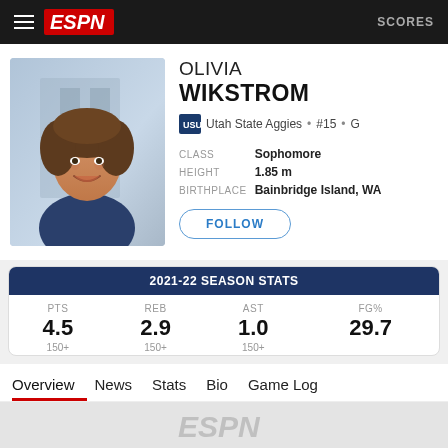ESPN  SCORES
OLIVIA WIKSTROM
Utah State Aggies • #15 • G
CLASS  Sophomore  HEIGHT  1.85 m  BIRTHPLACE  Bainbridge Island, WA
FOLLOW
| PTS | REB | AST | FG% |
| --- | --- | --- | --- |
| 4.5 | 2.9 | 1.0 | 29.7 |
| 150+ | 150+ | 150+ |  |
2021-22 SEASON STATS
Overview  News  Stats  Bio  Game Log